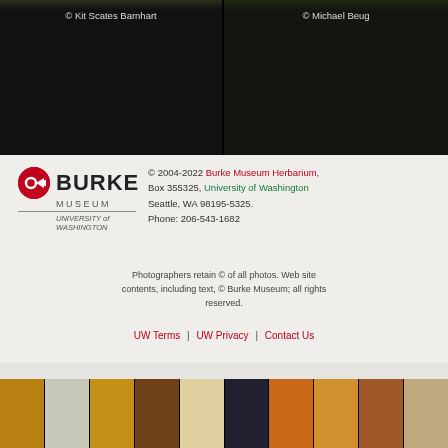[Figure (photo): Two mushroom photos side by side on black background. Left photo credited to Kit Scates Barnhart, right photo credited to Michael Beug.]
© Kit Scates Barnhart
© Michael Beug
[Figure (logo): Burke Museum, University of Washington logo with red circle icon]
© 2004-2022 Burke Museum Herbarium, Box 355325, University of Washington Seattle, WA 98195-5325. Phone: 206-543-1682
Photographers retain © of all photos. Web site contents, including text, © Burke Museum; all rights reserved.
UW Terms | UW Privacy | Contact Us
[Figure (photo): Strip of mushroom and fungi photos at the bottom of the page]